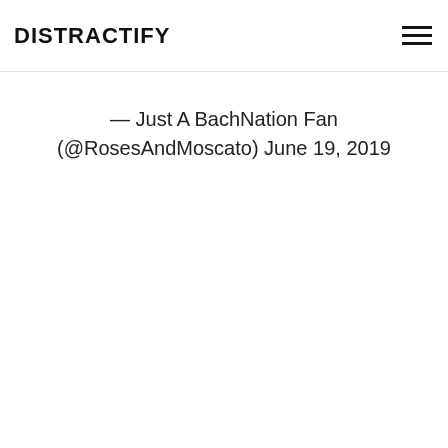DISTRACTIFY
— Just A BachNation Fan (@RosesAndMoscato) June 19, 2019